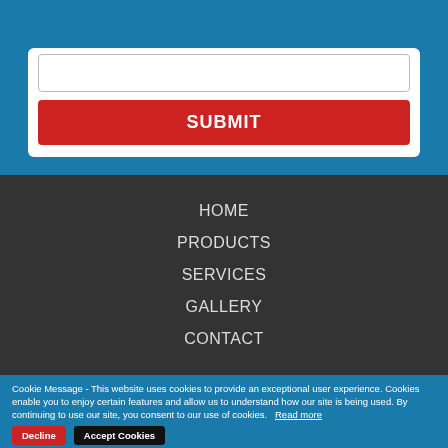[Figure (screenshot): A textarea input box with border and resize handle, part of a web form on a blue background.]
SUBMIT
HOME
PRODUCTS
SERVICES
GALLERY
CONTACT
Cookie Message - This website uses cookies to provide an exceptional user experience. Cookies enable you to enjoy certain features and allow us to understand how our site is being used. By continuing to use our site, you consent to our use of cookies.  Read more
Decline
Accept Cookies